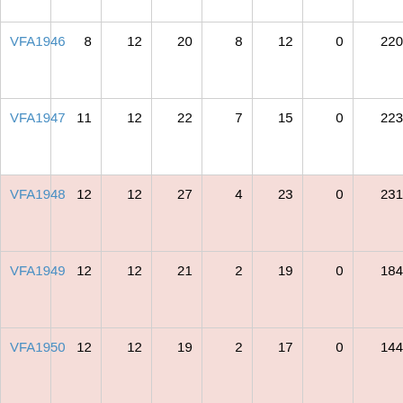| Season | Col2 | Col3 | Col4 | Col5 | Col6 | Col7 | Col8 |
| --- | --- | --- | --- | --- | --- | --- | --- |
| VFA1946 | 8 | 12 | 20 | 8 | 12 | 0 | 220... |
| VFA1947 | 11 | 12 | 22 | 7 | 15 | 0 | 223... |
| VFA1948 | 12 | 12 | 27 | 4 | 23 | 0 | 231... |
| VFA1949 | 12 | 12 | 21 | 2 | 19 | 0 | 184... |
| VFA1950 | 12 | 12 | 19 | 2 | 17 | 0 | 144... |
| VFA1951 | 11 | 14 | 20 | 9 | 11 | 0 | 155... |